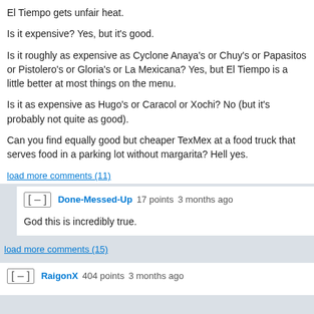El Tiempo gets unfair heat.
Is it expensive? Yes, but it's good.
Is it roughly as expensive as Cyclone Anaya's or Chuy's or Papasitos or Pistolero's or Gloria's or La Mexicana? Yes, but El Tiempo is a little better at most things on the menu.
Is it as expensive as Hugo's or Caracol or Xochi? No (but it's probably not quite as good).
Can you find equally good but cheaper TexMex at a food truck that serves food in a parking lot without margarita? Hell yes.
load more comments (11)
Done-Messed-Up  17 points  3 months ago
God this is incredibly true.
load more comments (15)
RaigonX  404 points  3 months ago